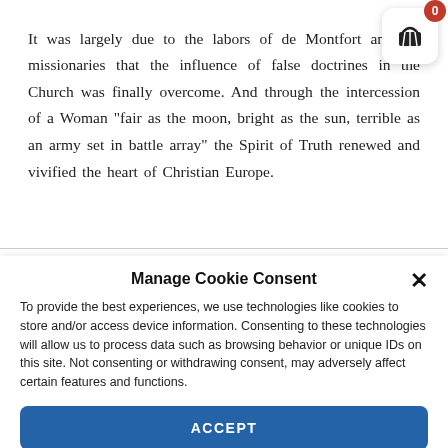It was largely due to the labors of de Montfort and his missionaries that the influence of false doctrines in the Church was finally overcome. And through the intercession of a Woman "fair as the moon, bright as the sun, terrible as an army set in battle array" the Spirit of Truth renewed and vivified the heart of Christian Europe.
[Figure (other): Shopping cart icon with red badge showing 0, in a white rounded rectangle with drop shadow, positioned top-right]
Manage Cookie Consent
To provide the best experiences, we use technologies like cookies to store and/or access device information. Consenting to these technologies will allow us to process data such as browsing behavior or unique IDs on this site. Not consenting or withdrawing consent, may adversely affect certain features and functions.
ACCEPT